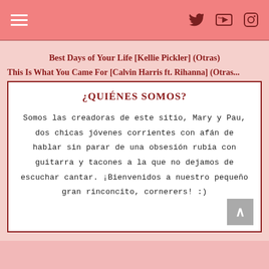Social icons: Twitter, YouTube, Instagram
Best Days of Your Life [Kellie Pickler] (Otras)
This Is What You Came For [Calvin Harris ft. Rihanna] (Otras...
¿QUIÉNES SOMOS?
Somos las creadoras de este sitio, Mary y Pau, dos chicas jóvenes corrientes con afán de hablar sin parar de una obsesión rubia con guitarra y tacones a la que no dejamos de escuchar cantar. ¡Bienvenidos a nuestro pequeño gran rinconcito, cornerers! :)